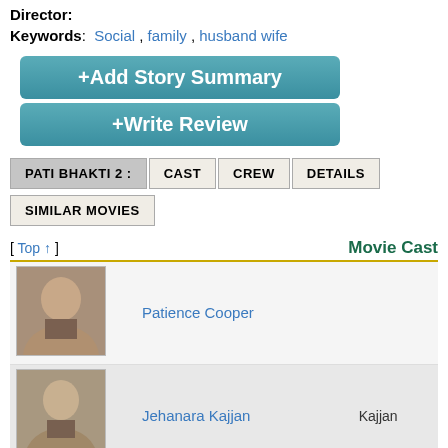Director:
Keywords: Social , family , husband wife
+Add Story Summary
+Write Review
PATI BHAKTI 2 :
CAST
CREW
DETAILS
SIMILAR MOVIES
[ Top ↑ ]
Movie Cast
| Photo | Name | Role |
| --- | --- | --- |
| [photo] | Patience Cooper |  |
| [photo] | Jehanara Kajjan | Kajjan |
| [silhouette] | Master Mohan |  |